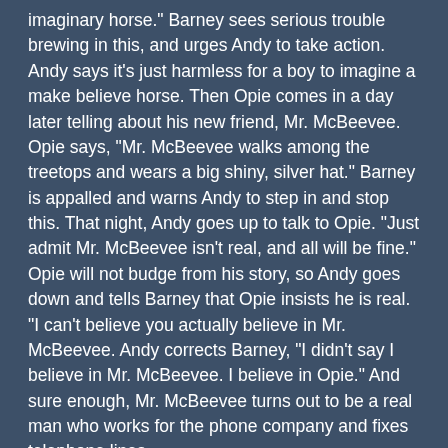imaginary horse." Barney sees serious trouble brewing in this, and urges Andy to take action. Andy says it's just harmless for a boy to imagine a make believe horse. Then Opie comes in a day later telling about his new friend, Mr. McBeevee. Opie says, "Mr. McBeevee walks among the treetops and wears a big shiny, silver hat." Barney is appalled and warns Andy to step in and stop this. That night, Andy goes up to talk to Opie. "Just admit Mr. McBeevee isn't real, and all will be fine." Opie will not budge from his story, so Andy goes down and tells Barney that Opie insists he is real. "I can't believe you actually believe in Mr. McBeevee. Andy corrects Barney, "I didn't say I believe in Mr. McBeevee. I believe in Opie." And sure enough, Mr. McBeevee turns out to be a real man who works for the phone company and fixes telephone lines.
A true friend is a cheerleader and a confident. Finally, a true friend cares enough to confront. You learn over time who your true friends are because they will tell you not only what you want to hear, but also what you need to hear. A real friend will tell you what no one else will dare let you know … but a friend is not a hit and run driver on the road of life. A